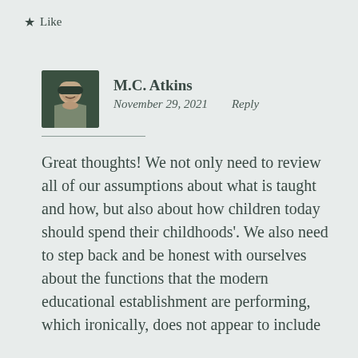★ Like
M.C. Atkins
November 29, 2021    Reply
Great thoughts! We not only need to review all of our assumptions about what is taught and how, but also about how children today should spend their childhoods'. We also need to step back and be honest with ourselves about the functions that the modern educational establishment are performing, which ironically, does not appear to include